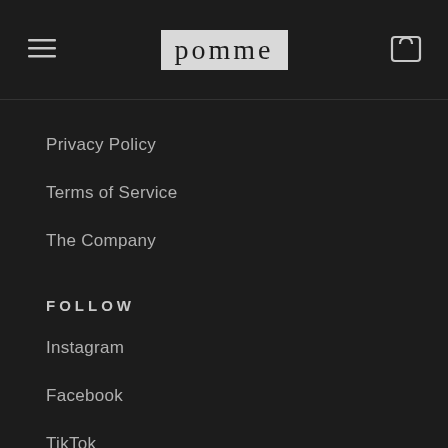pomme
Privacy Policy
Terms of Service
The Company
FOLLOW
Instagram
Facebook
TikTok